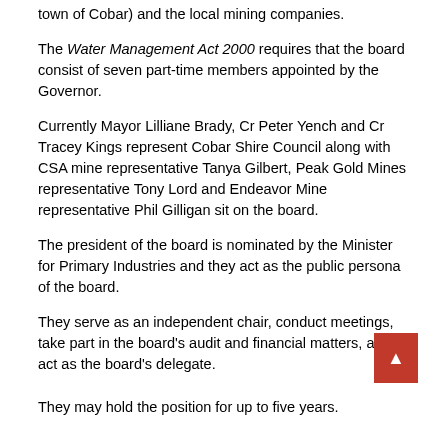town of Cobar) and the local mining companies.
The Water Management Act 2000 requires that the board consist of seven part-time members appointed by the Governor.
Currently Mayor Lilliane Brady, Cr Peter Yench and Cr Tracey Kings represent Cobar Shire Council along with CSA mine representative Tanya Gilbert, Peak Gold Mines representative Tony Lord and Endeavor Mine representative Phil Gilligan sit on the board.
The president of the board is nominated by the Minister for Primary Industries and they act as the public persona of the board.
They serve as an independent chair, conduct meetings, take part in the board's audit and financial matters, and act as the board's delegate.
They may hold the position for up to five years.